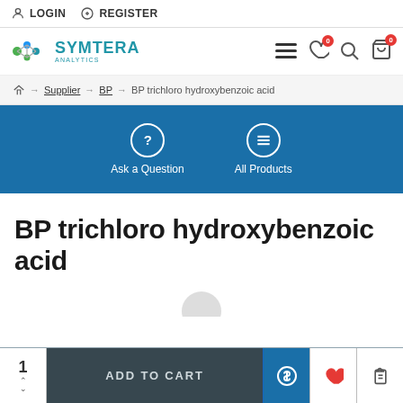LOGIN  REGISTER
[Figure (logo): Symtera Analytics logo with molecule graphic and teal text]
Supplier → BP → BP trichloro hydroxybenzoic acid (breadcrumb navigation)
[Figure (infographic): Blue banner with Ask a Question and All Products icons]
BP trichloro hydroxybenzoic acid
1  ADD TO CART  (dollar icon) (heart icon) (clipboard icon)